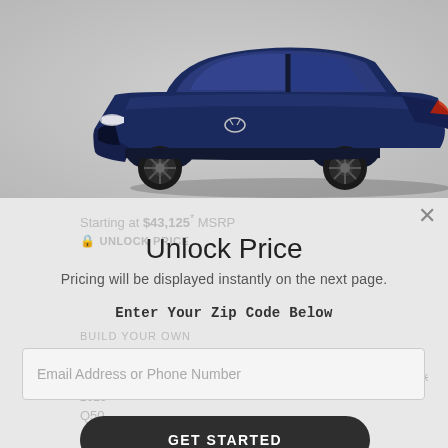[Figure (photo): Dark navy blue Infiniti Q50 sedan viewed from a three-quarter front angle, on a gray gradient background]
Starting at $43,125* MSRP
🔒 UNLOCK PRICE
Unlock Price
Pricing will be displayed instantly on the next page.
BUILD YOUR OWN
Enter Your Zip Code Below
Out of Stock
2023
Q50
Email Address or Phone Number
GET STARTED